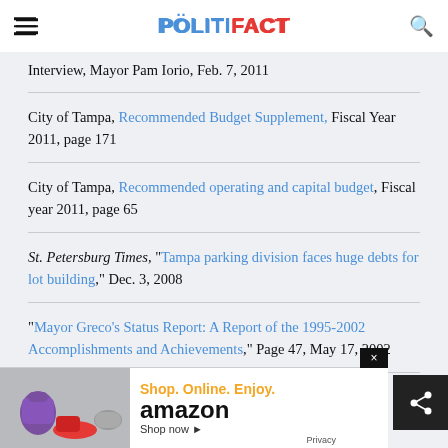POLITIFACT
Interview, Mayor Pam Iorio, Feb. 7, 2011
City of Tampa, Recommended Budget Supplement, Fiscal Year 2011, page 171
City of Tampa, Recommended operating and capital budget, Fiscal year 2011, page 65
St. Petersburg Times, "Tampa parking division faces huge debts for lot building," Dec. 3, 2008
"Mayor Greco's Status Report: A Report of the 1995-2002 Accomplishments and Achievements," Page 47, May 17, 2002
City of Tampa PowerPoint Presentation, Fiscal Year...